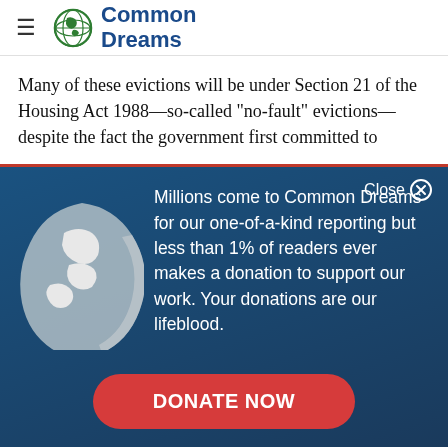Common Dreams
Many of these evictions will be under Section 21 of the Housing Act 1988—so-called "no-fault" evictions—despite the fact the government first committed to
[Figure (screenshot): Common Dreams donation modal overlay on a dark blue gradient background. Features a globe icon on the left and text: 'Millions come to Common Dreams for our one-of-a-kind reporting but less than 1% of readers ever makes a donation to support our work. Your donations are our lifeblood.' A red DONATE NOW button is at the bottom. A Close button with X is in the top right corner.]